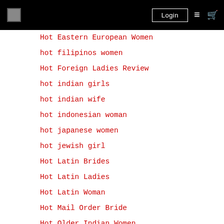Login
Hot Eastern European Women
hot filipinos women
Hot Foreign Ladies Review
hot indian girls
hot indian wife
hot indonesian woman
hot japanese women
hot jewish girl
Hot Latin Brides
Hot Latin Ladies
Hot Latin Woman
Hot Mail Order Bride
Hot Older Indian Women
Hot Russian Brides
Hot Russian Brides For Sale